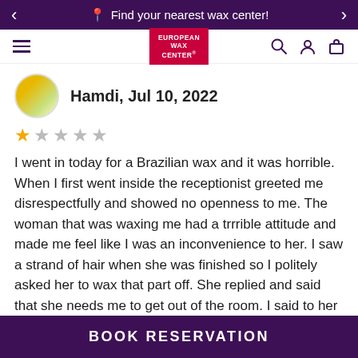Find your nearest wax center!
[Figure (logo): European Wax Center logo in red rectangle]
Hamdi, Jul 10, 2022
★☆☆☆ (1 out of 5 stars)
I went in today for a Brazilian wax and it was horrible. When I first went inside the receptionist greeted me disrespectfully and showed no openness to me. The woman that was waxing me had a trrrible attitude and made me feel like I was an inconvenience to her. I saw a strand of hair when she was finished so I politely asked her to wax that part off. She replied and said that she needs me to get out of the room. I said to her that I am paying for the service so I want her to do a good job or get someone else to complete the job that she
BOOK RESERVATION